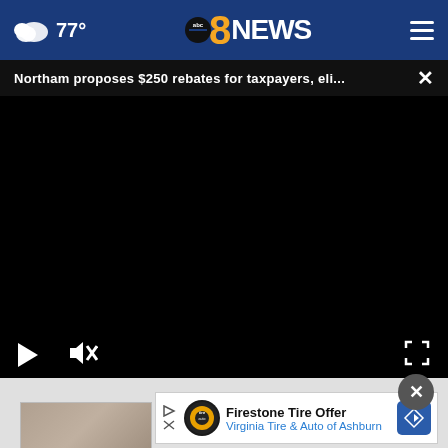abc 8NEWS — 77°
Northam proposes $250 rebates for taxpayers, eli...
[Figure (screenshot): Black video player area with play button, mute button, and fullscreen button controls]
[Figure (screenshot): Firestone Tire Offer advertisement banner: Firestone logo, text 'Firestone Tire Offer / Virginia Tire & Auto of Ashburn', directional sign icon]